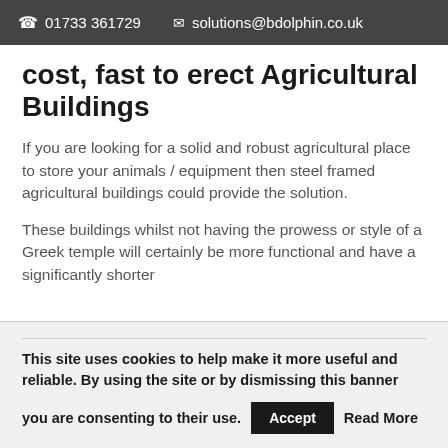01733 361729  solutions@bdolphin.co.uk
cost, fast to erect Agricultural Buildings
If you are looking for a solid and robust agricultural place to store your animals / equipment then steel framed agricultural buildings could provide the solution.
These buildings whilst not having the prowess or style of a Greek temple will certainly be more functional and have a significantly shorter
This site uses cookies to help make it more useful and reliable. By using the site or by dismissing this banner you are consenting to their use.  Accept  Read More